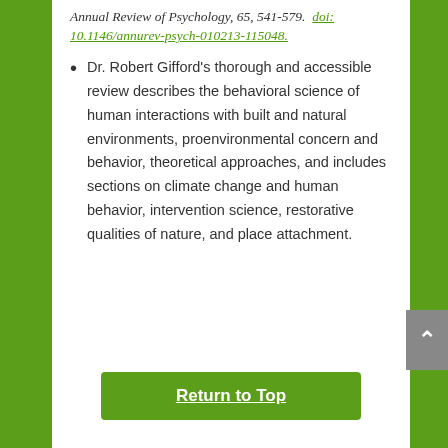Annual Review of Psychology, 65, 541-579. doi: 10.1146/annurev-psych-010213-115048.
Dr. Robert Gifford's thorough and accessible review describes the behavioral science of human interactions with built and natural environments, proenvironmental concern and behavior, theoretical approaches, and includes sections on climate change and human behavior, intervention science, restorative qualities of nature, and place attachment.
Return to Top